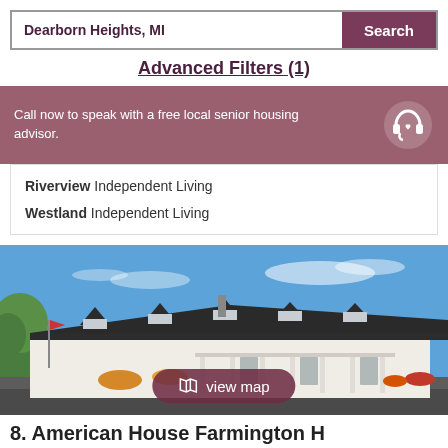Dearborn Heights, MI
Search
Advanced Filters (1)
Call now to speak with a free local senior housing advisor.
Riverview Independent Living
Westland Independent Living
[Figure (photo): Exterior photo of a white colonial-style senior living building with dormer windows and a long covered porch, under a blue sky with trees in the background.]
view map
8. American House Farmington H